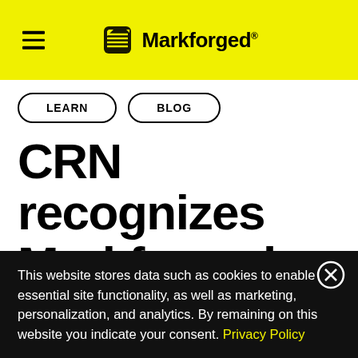Markforged
LEARN  BLOG
CRN recognizes Markforged for best 3D printing innovation of 2020
This website stores data such as cookies to enable essential site functionality, as well as marketing, personalization, and analytics. By remaining on this website you indicate your consent. Privacy Policy